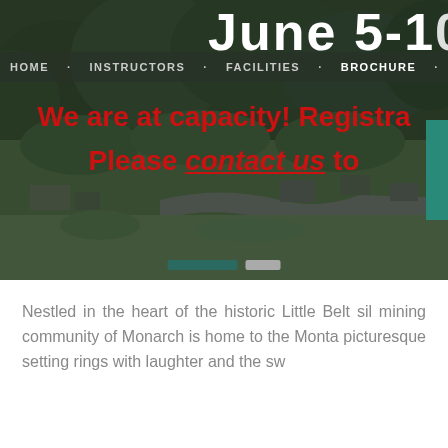June 5-10
HOME   INSTRUCTORS   FACILITIES   BROCHURE   REGISTER
[Figure (photo): Aerial view of forested mountain community of Monarch with green trees, roads, and scattered buildings]
We are at capacity! Registration is closed. Please contact us to be added to the waitlist.
Nestled in the heart of the historic Little Belt silver mining community of Monarch is home to the Montana Fiddle Camp. This picturesque setting rings with laughter and the sweet sound of fiddle music throughout the first week of summer.